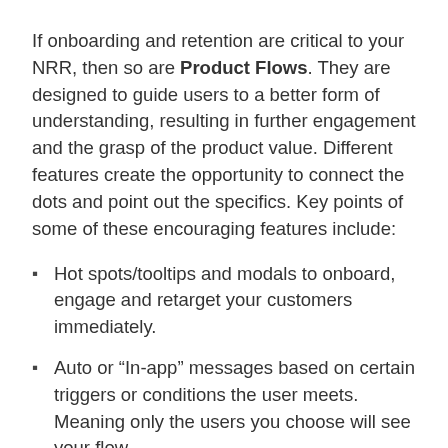If onboarding and retention are critical to your NRR, then so are Product Flows. They are designed to guide users to a better form of understanding, resulting in further engagement and the grasp of the product value. Different features create the opportunity to connect the dots and point out the specifics. Key points of some of these encouraging features include:
Hot spots/tooltips and modals to onboard, engage and retarget your customers immediately.
Auto or “In-app” messages based on certain triggers or conditions the user meets. Meaning only the users you choose will see your flow.
Rich content, like links and features highlights